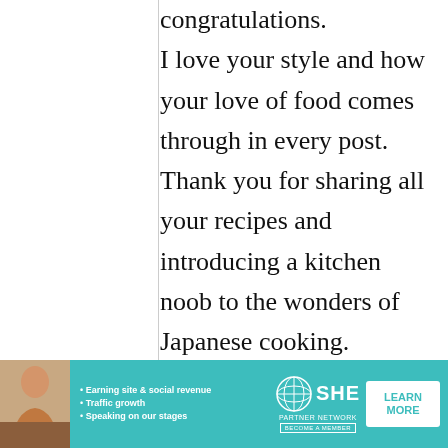congratulations.

I love your style and how your love of food comes through in every post. Thank you for sharing all your recipes and introducing a kitchen noob to the wonders of Japanese cooking.

Cheers from Puerto Rico
[Figure (infographic): Advertisement banner for SHE Partner Network with a woman photo on the left, bullet points about Earning site & social revenue, Traffic growth, Speaking on our stages, SHE logo with globe icon, and a Learn More button.]